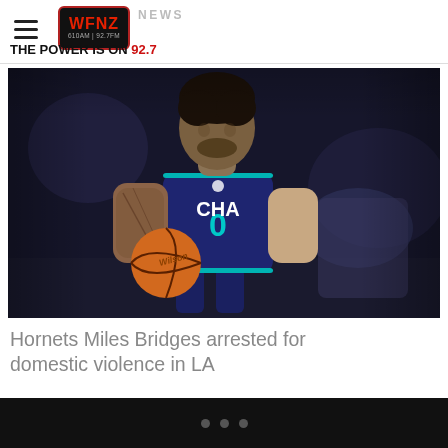WFNZ NEWS — THE POWER IS ON 92.7
[Figure (photo): Charlotte Hornets player Miles Bridges wearing navy blue CHA jersey number 0, holding a Wilson basketball, dribbling during a game.]
Hornets Miles Bridges arrested for domestic violence in LA